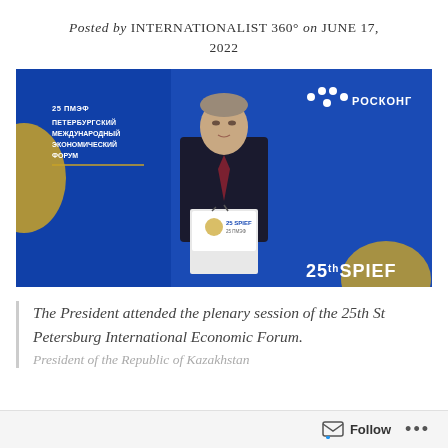Posted by INTERNATIONALIST 360° on JUNE 17, 2022
[Figure (photo): Man in dark suit speaking at a podium labeled '25 SPIEF 25 ПМЭФ' at the 25th St Petersburg International Economic Forum, with a blue background showing Cyrillic text 'ПЕТЕРБУРГСКИЙ МЕЖДУНАРОДНЫЙ ЭКОНОМИЧЕСКИЙ ФОРУМ' and РОСКOНГРЕСС logo, and '25th SPIEF' branding on the right.]
The President attended the plenary session of the 25th St Petersburg International Economic Forum.
President of the Republic of Kazakhstan